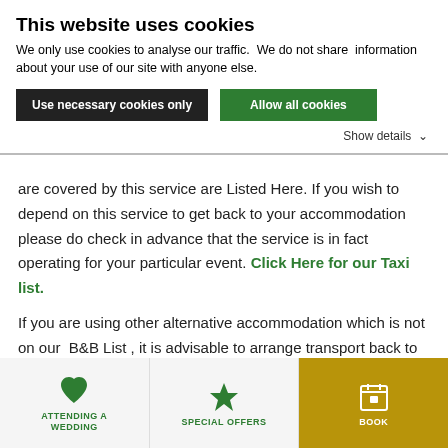This website uses cookies
We only use cookies to analyse our traffic.  We do not share  information about your use of our site with anyone else.
Use necessary cookies only   Allow all cookies
Show details ∨
are covered by this service are Listed Here. If you wish to depend on this service to get back to your accommodation please do check in advance that the service is in fact operating for your particular event. Click Here for our Taxi list.
If you are using other alternative accommodation which is not on our  B&B List , it is advisable to arrange transport back to that accommodation well in advance.
[Figure (infographic): Bottom navigation bar with three items: heart icon labeled ATTENDING A WEDDING, star icon labeled SPECIAL OFFERS, calendar icon labeled BOOK (gold background)]